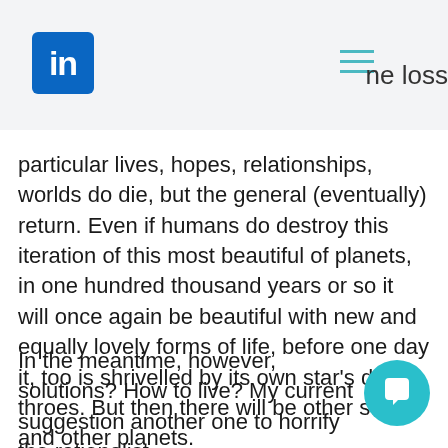ne loss
particular lives, hopes, relationships, worlds do die, but the general (eventually) return. Even if humans do destroy this iteration of this most beautiful of planets, in one hundred thousand years or so it will once again be beautiful with new and equally lovely forms of life, before one day it, too is shrivelled by its own star’s death throes. But then there will be other stars, and other planets.
In the meantime, however, solutions? How to live? My current suggestio... another one to horrify the rationali... The concept of the Tao makes more